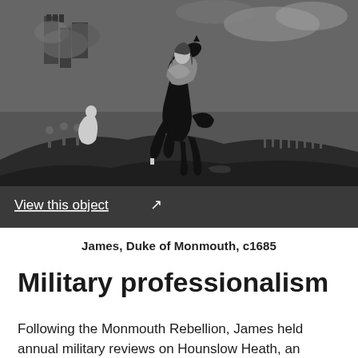[Figure (illustration): Black and white historical engraving depicting a military battle scene. A commanding figure on a rearing black horse is prominently shown in the center foreground, wearing ornate armor and rich garments. Behind him, soldiers engage in combat with muskets and swords. A burning castle or fortification is visible in the upper left background. Smoke fills the sky. Fallen soldiers and debris litter the ground.]
James, Duke of Monmouth, c1685
Military professionalism
Following the Monmouth Rebellion, James held annual military reviews on Hounslow Heath, an